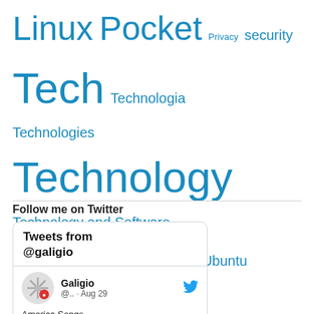Linux Pocket Privacy security Tech Technologia Technologies Technology Technology and Software Technology News Tecnologia Ubuntu xkcd xkcd.com
Follow me on Twitter
[Figure (screenshot): Twitter widget showing Tweets from @galigio with a tweet by Galigio on Aug 29 about America Songs]